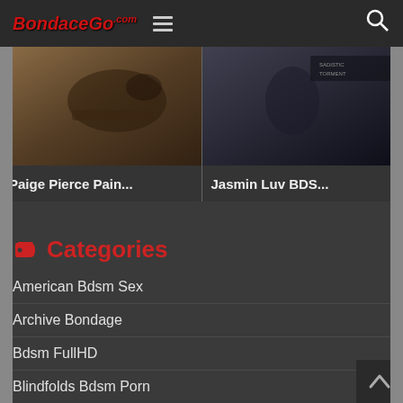BondaceGo.com
[Figure (screenshot): Video thumbnail: Paige Pierce Pain...]
[Figure (screenshot): Video thumbnail: Jasmin Luv BDS...]
Paige Pierce Pain...
Jasmin Luv BDS...
Categories
American Bdsm Sex
Archive Bondage
Bdsm FullHD
Blindfolds Bdsm Porn
Bondage Porn Video